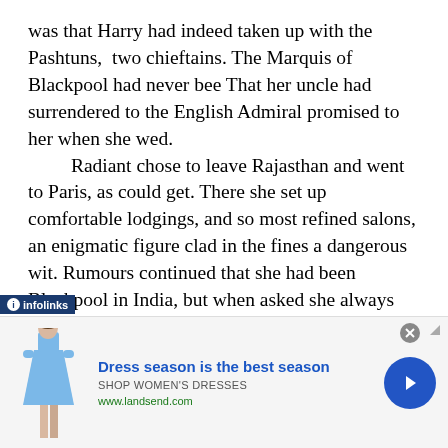was that Harry had indeed taken up with the Pashtuns, two chieftains. The Marquis of Blackpool had never bee That her uncle had surrendered to the English Admiral promised to her when she wed.
    Radiant chose to leave Rajasthan and went to Paris, as could get. There she set up comfortable lodgings, and so most refined salons, an enigmatic figure clad in the fines a dangerous wit. Rumours continued that she had been Blackpool in India, but when asked she always denied th Goberslieves brought the pearls back to the Midlands ar overweight wife. She wore them once. The Admiral fell hunt and died of his injuries. The bereaved widow put mained until her death. 'I never liked them all th
[Figure (screenshot): Advertisement banner: infolinks branded ad for Lands' End dresses. Shows a woman in a blue dress, headline 'Dress season is the best season', subtext 'SHOP WOMEN'S DRESSES', URL 'www.landsend.com', with a blue arrow button and close button.]